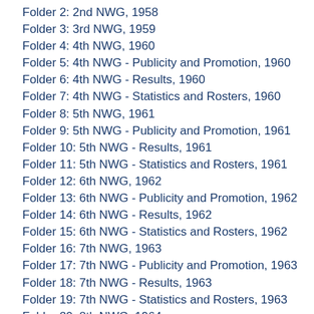Folder 2: 2nd NWG, 1958
Folder 3: 3rd NWG, 1959
Folder 4: 4th NWG, 1960
Folder 5: 4th NWG - Publicity and Promotion, 1960
Folder 6: 4th NWG - Results, 1960
Folder 7: 4th NWG - Statistics and Rosters, 1960
Folder 8: 5th NWG, 1961
Folder 9: 5th NWG - Publicity and Promotion, 1961
Folder 10: 5th NWG - Results, 1961
Folder 11: 5th NWG - Statistics and Rosters, 1961
Folder 12: 6th NWG, 1962
Folder 13: 6th NWG - Publicity and Promotion, 1962
Folder 14: 6th NWG - Results, 1962
Folder 15: 6th NWG - Statistics and Rosters, 1962
Folder 16: 7th NWG, 1963
Folder 17: 7th NWG - Publicity and Promotion, 1963
Folder 18: 7th NWG - Results, 1963
Folder 19: 7th NWG - Statistics and Rosters, 1963
Folder 20: 8th NWG, 1964
Folder 21: 8th NWG - Publicity and Promotion, 1964
Folder 22: 8th NWG - Statistics and Rosters, 1964
Folder 23: 9th NWG, 1965